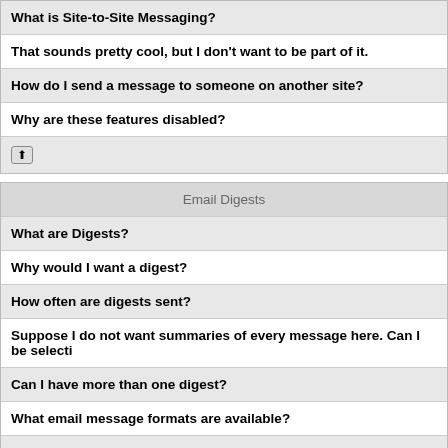What is Site-to-Site Messaging?
That sounds pretty cool, but I don't want to be part of it.
How do I send a message to someone on another site?
Why are these features disabled?
Email Digests
What are Digests?
Why would I want a digest?
How often are digests sent?
Suppose I do not want summaries of every message here. Can I be selecti
Can I have more than one digest?
What email message formats are available?
Do I get the whole message text in the digest?
How do I get started?
Can I unsubscribe?
Are digests commercial free?
Is my privacy protected?